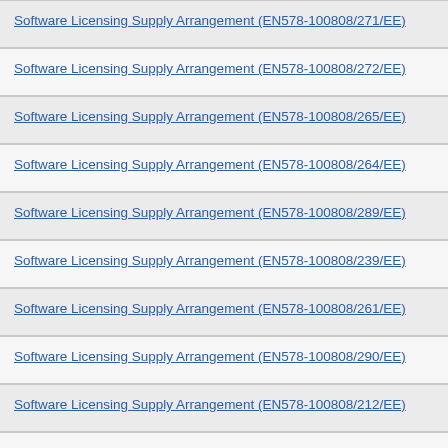Software Licensing Supply Arrangement (EN578-100808/271/EE)
Software Licensing Supply Arrangement (EN578-100808/272/EE)
Software Licensing Supply Arrangement (EN578-100808/265/EE)
Software Licensing Supply Arrangement (EN578-100808/264/EE)
Software Licensing Supply Arrangement (EN578-100808/289/EE)
Software Licensing Supply Arrangement (EN578-100808/239/EE)
Software Licensing Supply Arrangement (EN578-100808/261/EE)
Software Licensing Supply Arrangement (EN578-100808/290/EE)
Software Licensing Supply Arrangement (EN578-100808/212/EE)
Software Licensing Supply Arrangement (EN578-100808/295/EE)